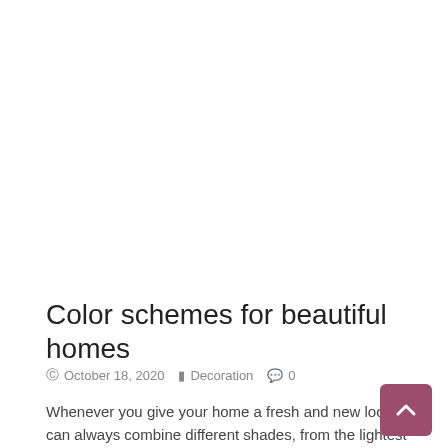Color schemes for beautiful homes
October 18, 2020   Decoration   0
Whenever you give your home a fresh and new look, you can always combine different shades, from the lightest highlights to the darkest shades. It's a real decor booster as a new mix of colors for your...